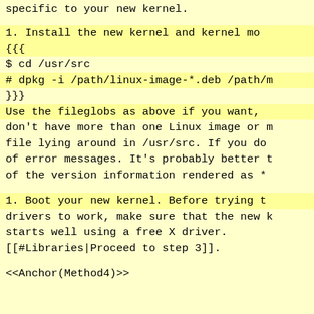specific to your new kernel.
1. Install the new kernel and kernel modules
{{{
$ cd /usr/src
# dpkg -i /path/linux-image-*.deb /path/m
}}}
Use the fileglobs as above if you want,
don't have more than one Linux image or module
file lying around in /usr/src. If you do
of error messages. It's probably better t
of the version information rendered as *
1. Boot your new kernel. Before trying t
drivers to work, make sure that the new k
starts well using a free X driver.
[[#Libraries|Proceed to step 3]].
<<Anchor(Method4)>>